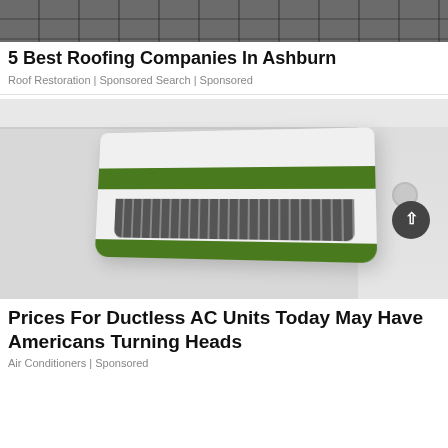[Figure (photo): Close-up of dark gray roof shingles]
5 Best Roofing Companies In Ashburn
Roof Restoration | Sponsored Search | Sponsored
[Figure (photo): White ductless mini-split AC unit mounted on a ceiling with green accent stripe and silver vents]
Prices For Ductless AC Units Today May Have Americans Turning Heads
Air Conditioners | Sponsored